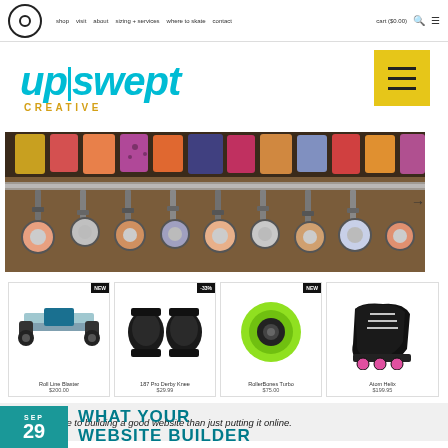shop  visit  about  sizing + services  where to skate  contact  cart ($0.00)
upswept CREATIVE
[Figure (photo): Close-up photo of roller skate equipment on a rack, showing colorful boot tops and metallic trucks/wheels]
[Figure (photo): Product: Roll Line Blaster trucks]
[Figure (photo): Product: 187 Pro Derby Knee pads]
[Figure (photo): Product: RollerBones Turbo wheels (neon green)]
[Figure (photo): Product: Atom Helix roller skates (black with pink wheels)]
There's more to building a good website than just putting it online.
WHAT YOUR WEBSITE BUILDER
SEP 29